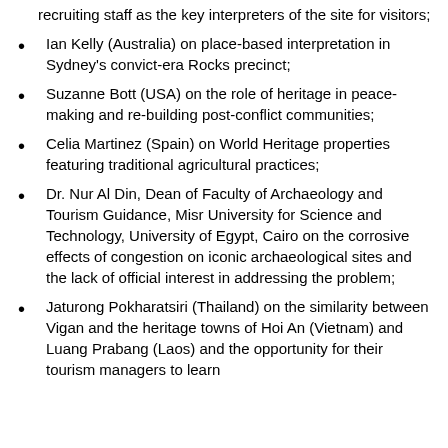recruiting staff as the key interpreters of the site for visitors;
Ian Kelly (Australia) on place-based interpretation in Sydney's convict-era Rocks precinct;
Suzanne Bott (USA) on the role of heritage in peace-making and re-building post-conflict communities;
Celia Martinez (Spain) on World Heritage properties featuring traditional agricultural practices;
Dr. Nur Al Din, Dean of Faculty of Archaeology and Tourism Guidance, Misr University for Science and Technology, University of Egypt, Cairo on the corrosive effects of congestion on iconic archaeological sites and the lack of official interest in addressing the problem;
Jaturong Pokharatsiri (Thailand) on the similarity between Vigan and the heritage towns of Hoi An (Vietnam) and Luang Prabang (Laos) and the opportunity for their tourism managers to learn